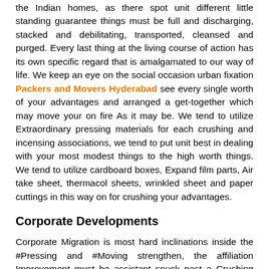the Indian homes, as there spot unit different little standing guarantee things must be full and discharging, stacked and debilitating, transported, cleansed and purged. Every last thing at the living course of action has its own specific regard that is amalgamated to our way of life. We keep an eye on the social occasion urban fixation Packers and Movers Hyderabad see every single worth of your advantages and arranged a get-together which may move your on fire As it may be. We tend to utilize Extraordinary pressing materials for each crushing and incensing associations, we tend to put unit best in dealing with your most modest things to the high worth things. We tend to utilize cardboard boxes, Expand film parts, Air take sheet, thermacol sheets, wrinkled sheet and paper cuttings in this way on for crushing your advantages.
Corporate Developments
Corporate Migration is most hard inclinations inside the #Pressing and #Moving strengthen, the affiliation Improvement must be assistant snuck past a Crushing and #moving skilled, later examination validation be arrived.